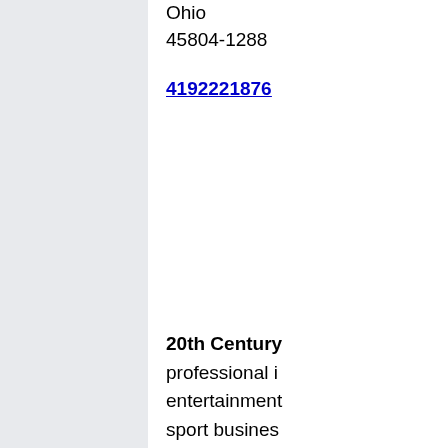Ohio
45804-1288
4192221876
20th Century professional in entertainment sport busines Lima, Ohio. T industrie